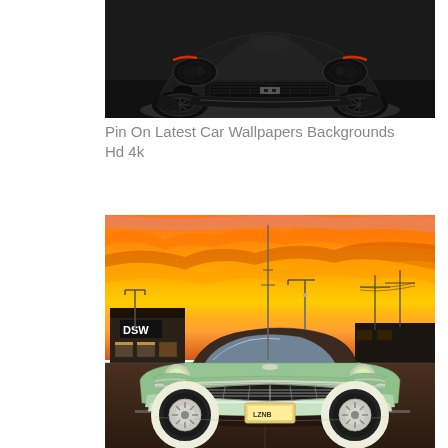[Figure (photo): Front view of a black modern Chevrolet Camaro sports car on a dark studio background with red accent lights visible]
Pin On Latest Car Wallpapers Backgrounds Hd 4k
[Figure (photo): Classic light green 1956 Chevrolet Bel Air convertible parked in a lot with a dramatic orange and yellow sunset sky behind it and a DSW store visible in the background]